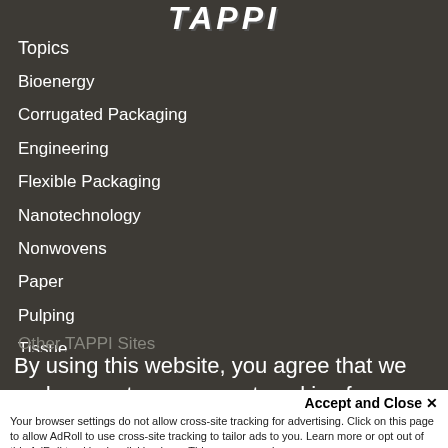TAPPI
Topics
Bioenergy
Corrugated Packaging
Engineering
Flexible Packaging
Nanotechnology
Nonwovens
Paper
Pulping
Tissue
Women in Industry
Other TAPPI Sites
By using this website, you agree that we and our partners may set cookies for purposes such
Accept and Close ✕
Your browser settings do not allow cross-site tracking for advertising. Click on this page to allow AdRoll to use cross-site tracking to tailor ads to you. Learn more or opt out of this AdRoll tracking by clicking here. This message only appears once.